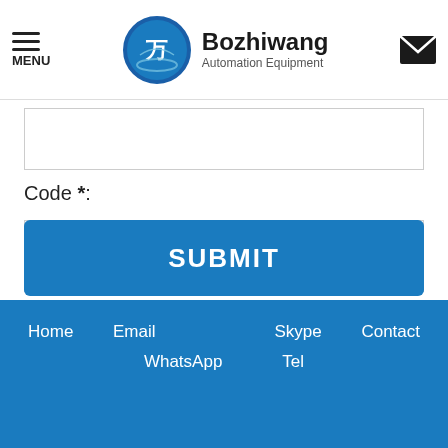MENU | Bozhiwang Automation Equipment
Code *:
Click it
Message*:
SUBMIT
Home  Email  Skype  Contact  WhatsApp  Tel